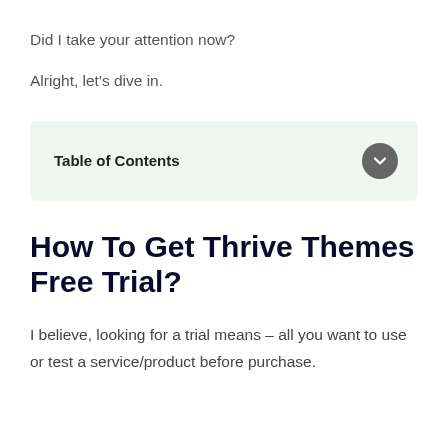Did I take your attention now?
Alright, let’s dive in.
Table of Contents
How To Get Thrive Themes Free Trial?
I believe, looking for a trial means – all you want to use or test a service/product before purchase.